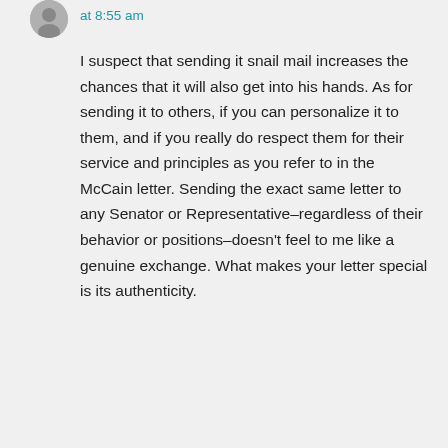at 8:55 am
I suspect that sending it snail mail increases the chances that it will also get into his hands. As for sending it to others, if you can personalize it to them, and if you really do respect them for their service and principles as you refer to in the McCain letter. Sending the exact same letter to any Senator or Representative–regardless of their behavior or positions–doesn't feel to me like a genuine exchange. What makes your letter special is its authenticity.